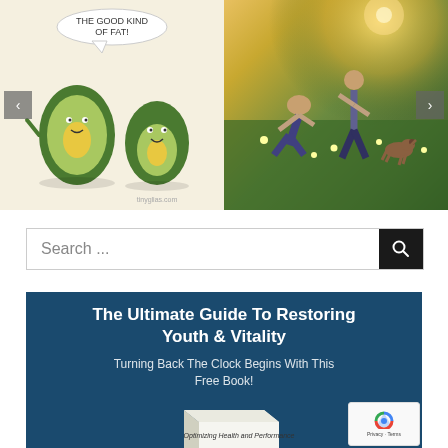[Figure (illustration): Cartoon avocado illustration with speech bubble saying 'OF FAT!' showing two avocado characters, with navigation arrow on left]
[Figure (photo): Photo of people in a sunny field with flowers, warm backlit sunlight, with navigation arrow on right]
Search ...
The Ultimate Guide To Restoring Youth & Vitality
Turning Back The Clock Begins With This Free Book!
[Figure (illustration): Book titled 'Optimizing Health and Performance']